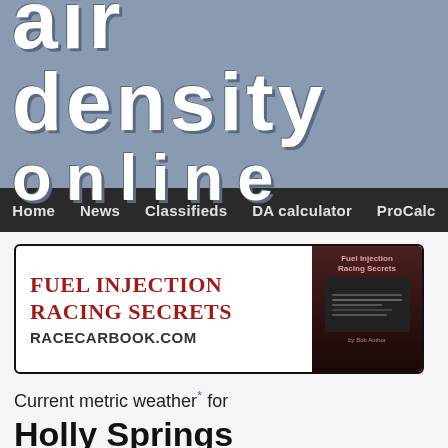air density online
Home | News | Classifieds | DA calculator | ProCalc
[Figure (other): Advertisement banner for Fuel Injection Racing Secrets at racecarbook.com, with book cover image on right side]
Current metric weather* for
Holly Springs Motorsports
in Holly Springs, Mississippi
temperature 95.4 d...